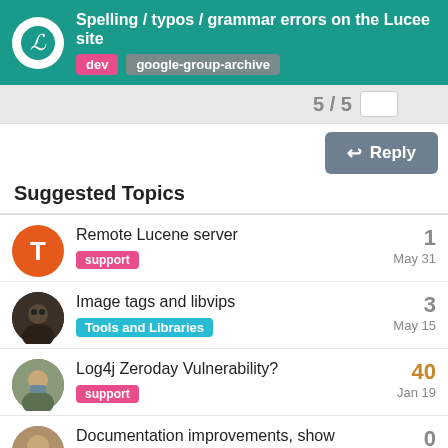Spelling / typos / grammar errors on the Lucee site — dev, google-group-archive
Suggested Topics
Remote Lucene server — support — 1 — May 31
Image tags and libvips — Tools and Libraries — 3 — May 15
Log4j Zeroday Vulnerability? — support — 40 — Jan 19
Documentation improvements, show requires extension and search related test cases — documentation — 0